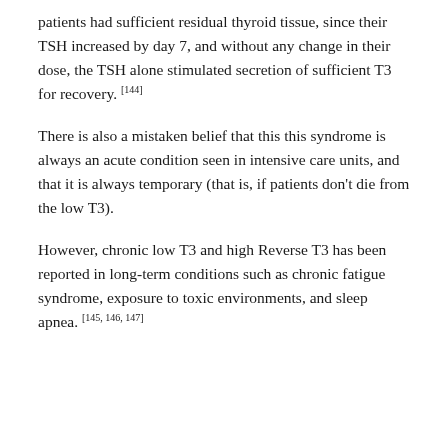patients had sufficient residual thyroid tissue, since their TSH increased by day 7, and without any change in their dose, the TSH alone stimulated secretion of sufficient T3 for recovery. [144]
There is also a mistaken belief that this this syndrome is always an acute condition seen in intensive care units, and that it is always temporary (that is, if patients don't die from the low T3).
However, chronic low T3 and high Reverse T3 has been reported in long-term conditions such as chronic fatigue syndrome, exposure to toxic environments, and sleep apnea. [145, 146, 147]